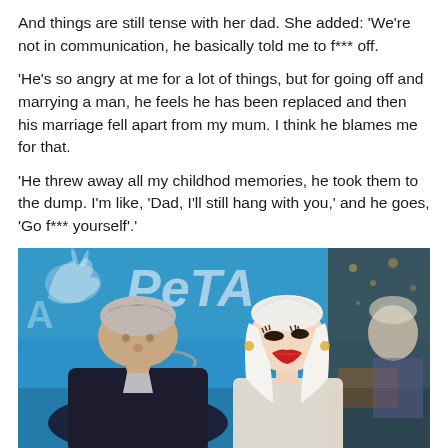And things are still tense with her dad. She added: 'We're not in communication, he basically told me to f*** off.
'He's so angry at me for a lot of things, but for going off and marrying a man, he feels he has been replaced and then his marriage fell apart from my mum. I think he blames me for that.
'He threw away all my childhod memories, he took them to the dump. I'm like, 'Dad, I'll still hang with you,' and he goes, 'Go f*** yourself'.
[Figure (photo): An older man with grey/silver hair kissing a young blonde woman with white/platinum hair and red lipstick on the cheek, at what appears to be a PETA event. A PETA blue banner with logo is visible in the background, along with another blonde woman in the background.]